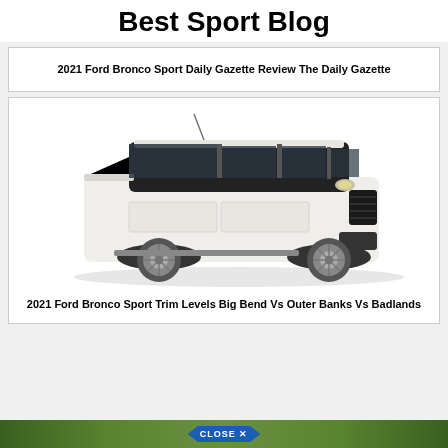Best Sport Blog
2021 Ford Bronco Sport Daily Gazette Review The Daily Gazette
[Figure (photo): White 2021 Ford Bronco Sport SUV shown from a 3/4 front angle on a white background]
2021 Ford Bronco Sport Trim Levels Big Bend Vs Outer Banks Vs Badlands
[Figure (photo): Bottom strip showing green outdoor/nature background with a blue CLOSE X button overlay]